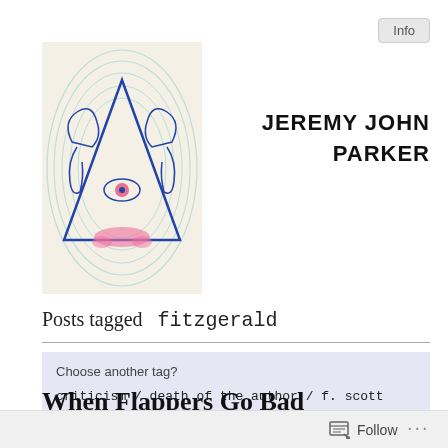[Figure (illustration): Logo illustration: triangle with eye/elephant motif in blue and pink on light beige background]
JEREMY JOHN PARKER
Posts tagged   fitzgerald
Choose another tag?
criticism / death of the author / f. scott fitzgerald / feminism / fitzgerald / flappers / literature / psychology fitzgerald
When Flappers Go Bad
Follow ...